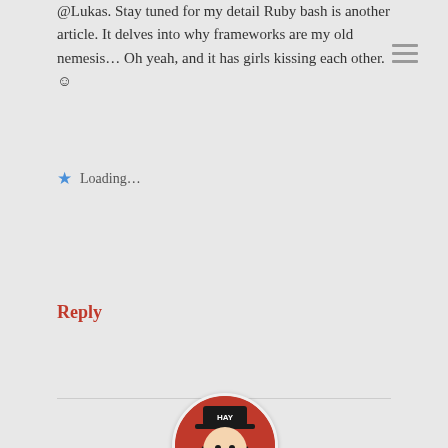@Lukas. Stay tuned for my detail Ruby bash is another article. It delves into why frameworks are my old nemesis... Oh yeah, and it has girls kissing each other. ☺
★ Loading...
Reply
[Figure (photo): Circular avatar showing Che Guevara-style illustration on red background with text 'HAY']
tychay
September 24, 2007 at 7:27 am
Michael finds my secret porn stash!
★ Loading...
Reply